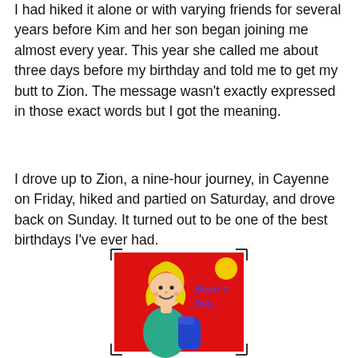I had hiked it alone or with varying friends for several years before Kim and her son began joining me almost every year. This year she called me about three days before my birthday and told me to get my butt to Zion. The message wasn't exactly expressed in those exact words but I got the meaning.
I drove up to Zion, a nine-hour journey, in Cayenne on Friday, hiked and partied on Saturday, and drove back on Sunday. It turned out to be one of the best birthdays I've ever had.
[Figure (illustration): Cartoon illustration of a smiling blonde woman on a red background with the text 'Bean's Pat...' and a yellow sun in the upper right corner. The woman is wearing a teal outfit and appears to be holding something blue.]